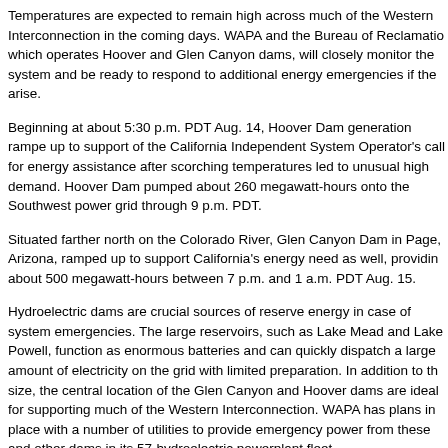Temperatures are expected to remain high across much of the Western Interconnection in the coming days. WAPA and the Bureau of Reclamation, which operates Hoover and Glen Canyon dams, will closely monitor the system and be ready to respond to additional energy emergencies if they arise.
Beginning at about 5:30 p.m. PDT Aug. 14, Hoover Dam generation ramped up to support of the California Independent System Operator's call for energy assistance after scorching temperatures led to unusual high demand. Hoover Dam pumped about 260 megawatt-hours onto the Southwest power grid through 9 p.m. PDT.
Situated farther north on the Colorado River, Glen Canyon Dam in Page, Arizona, ramped up to support California's energy need as well, providing about 500 megawatt-hours between 7 p.m. and 1 a.m. PDT Aug. 15.
Hydroelectric dams are crucial sources of reserve energy in case of system emergencies. The large reservoirs, such as Lake Mead and Lake Powell, function as enormous batteries and can quickly dispatch a large amount of electricity on the grid with limited preparation. In addition to their size, the central location of the Glen Canyon and Hoover dams are ideal for supporting much of the Western Interconnection. WAPA has plans in place with a number of utilities to provide emergency power from these and other dams in its 57-hydroelectric powerplant fleet.